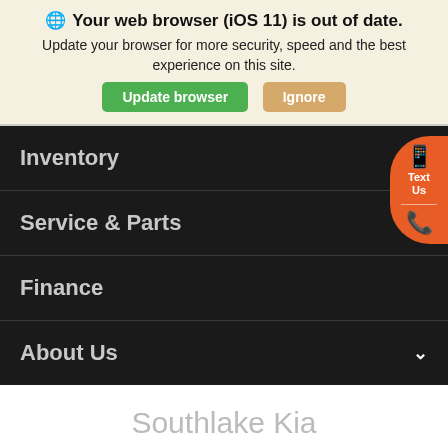🌐 Your web browser (iOS 11) is out of date.
Update your browser for more security, speed and the best experience on this site.
Update browser | Ignore
Inventory
Service & Parts
Finance
About Us
[Figure (infographic): Floating orange rounded widget with phone/text icon, 'Text Us' label, divider, and phone call icon]
Southlake Kia
Search   Saved   Share   Contact